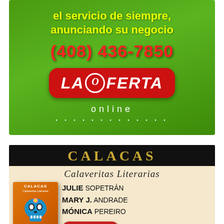[Figure (illustration): La Oferta Online advertisement on green background with yellow text, red phone number (408) 436-7850, and La Oferta red logo badge with online text and dots]
[Figure (illustration): Calacas Calaveritas Literarias book advertisement with black header, book cover image showing colorful skull, and author names Julie Sopetrán, Mary J. Andrade, Mónica Pereiro with Buy Now button]